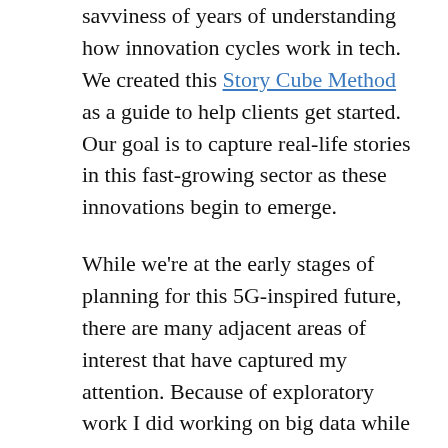savviness of years of understanding how innovation cycles work in tech. We created this Story Cube Method as a guide to help clients get started. Our goal is to capture real-life stories in this fast-growing sector as these innovations begin to emerge.
While we're at the early stages of planning for this 5G-inspired future, there are many adjacent areas of interest that have captured my attention. Because of exploratory work I did working on big data while working on Big Mountain Data, I was fortunate to join the University of Central Florida's (UCF's) Master of Science Data Analytics program board. As a result of that work, I'm now contributing to